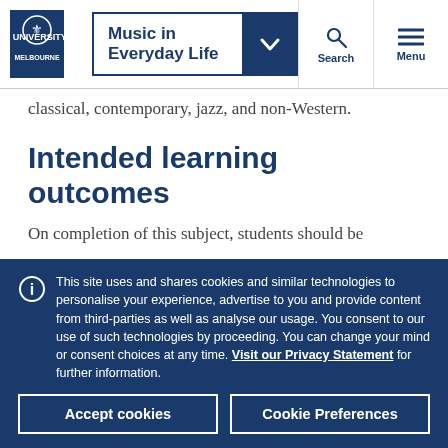Music in Everyday Life
classical, contemporary, jazz, and non-Western.
Intended learning outcomes
On completion of this subject, students should be
This site uses and shares cookies and similar technologies to personalise your experience, advertise to you and provide content from third-parties as well as analyse our usage. You consent to our use of such technologies by proceeding. You can change your mind or consent choices at any time. Visit our Privacy Statement for further information.
Accept cookies
Cookie Preferences